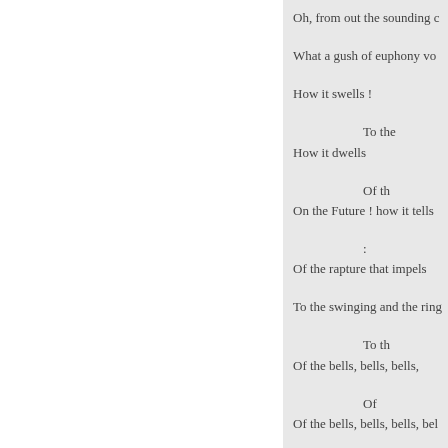Oh, from out the sounding c
What a gush of euphony vo
How it swells !
                                To the
How it dwells
                                Of th
On the Future ! how it tells
                                :
Of the rapture that impels
To the swinging and the ring
                                To th
Of the bells, bells, bells,
                                Of
Of the bells, bells, bells, bel